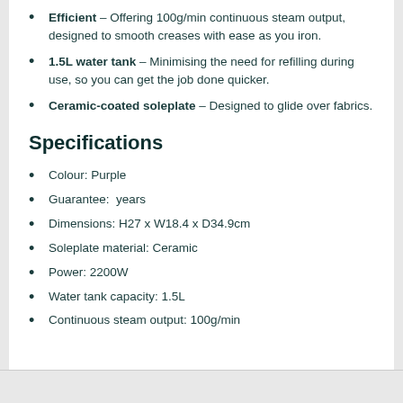Efficient – Offering 100g/min continuous steam output, designed to smooth creases with ease as you iron.
1.5L water tank – Minimising the need for refilling during use, so you can get the job done quicker.
Ceramic-coated soleplate – Designed to glide over fabrics.
Specifications
Colour: Purple
Guarantee:  years
Dimensions: H27 x W18.4 x D34.9cm
Soleplate material: Ceramic
Power: 2200W
Water tank capacity: 1.5L
Continuous steam output: 100g/min